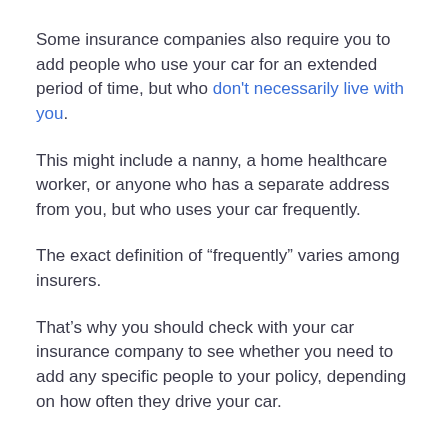Some insurance companies also require you to add people who use your car for an extended period of time, but who don't necessarily live with you.
This might include a nanny, a home healthcare worker, or anyone who has a separate address from you, but who uses your car frequently.
The exact definition of “frequently” varies among insurers.
That’s why you should check with your car insurance company to see whether you need to add any specific people to your policy, depending on how often they drive your car.